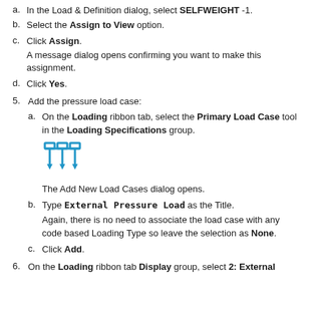a. In the Load & Definition dialog, select SELFWEIGHT -1.
b. Select the Assign to View option.
c. Click Assign. A message dialog opens confirming you want to make this assignment.
d. Click Yes.
5. Add the pressure load case:
a. On the Loading ribbon tab, select the Primary Load Case tool in the Loading Specifications group.
[Figure (illustration): Blue icon showing Primary Load Case tool — two rectangular load symbols with downward arrows]
The Add New Load Cases dialog opens.
b. Type External Pressure Load as the Title.
Again, there is no need to associate the load case with any code based Loading Type so leave the selection as None.
c. Click Add.
6. On the Loading ribbon tab Display group, select 2: External